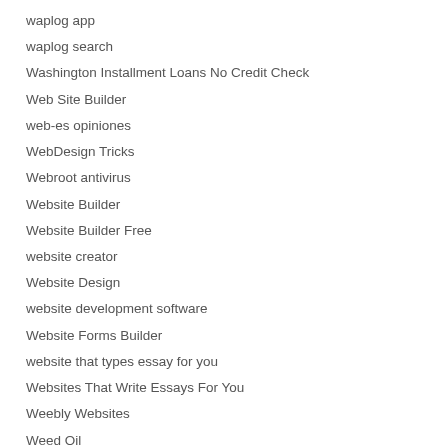waplog app
waplog search
Washington Installment Loans No Credit Check
Web Site Builder
web-es opiniones
WebDesign Tricks
Webroot antivirus
Website Builder
Website Builder Free
website creator
Website Design
website development software
Website Forms Builder
website that types essay for you
Websites That Write Essays For You
Weebly Websites
Weed Oil